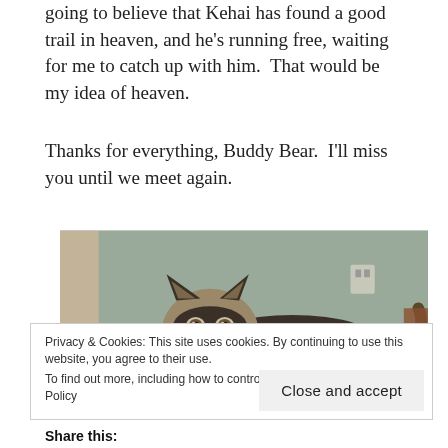going to believe that Kehai has found a good trail in heaven, and he’s running free, waiting for me to catch up with him.  That would be my idea of heaven.
Thanks for everything, Buddy Bear.  I’ll miss you until we meet again.
[Figure (photo): A large fluffy Alaskan Malamute dog lying on the floor, looking at the camera with mouth open and tongue out, gray and brown fur, indoor setting with wall and outlet visible in background.]
Privacy & Cookies: This site uses cookies. By continuing to use this website, you agree to their use.
To find out more, including how to control cookies, see here: Cookie Policy
Close and accept
Share this: